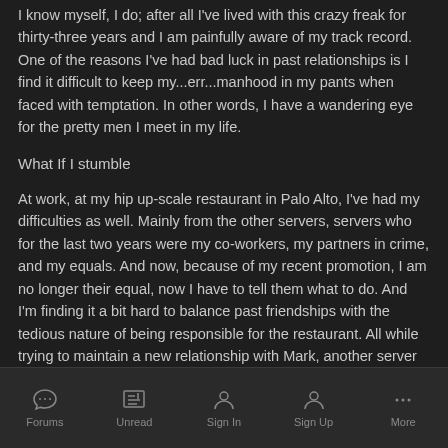I know myself, I do; after all I've lived with this crazy freak for thirty-three years and I am painfully aware of my track record. One of the reasons I've had bad luck in past relationships is I find it difficult to keep my...err...manhood in my pants when faced with temptation. In other words, I have a wandering eye for the pretty men I meet in my life.
What If I stumble
At work, at my hip up-scale restaurant in Palo Alto, I've had my difficulties as well. Mainly from the other servers, servers who for the last two years were my co-workers, my partners in crime, and my equals. And now, because of my recent promotion, I am no longer their equal, now I have to tell them what to do. And I'm finding it a bit hard to balance past friendships with the tedious nature of being responsible for the restaurant. All while trying to maintain a new relationship with Mark, another server who at one time was my equal.
Forums  Unread  Sign In  Sign Up  More